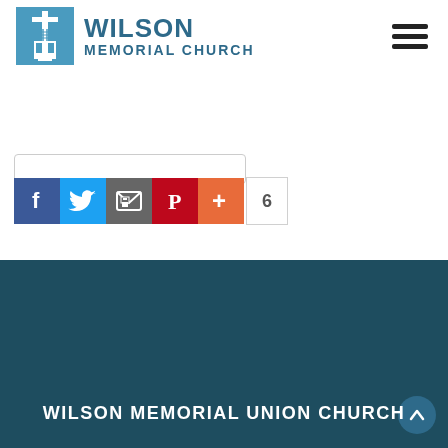[Figure (logo): Wilson Memorial Church logo: blue square with white church steeple/cross illustration, beside text 'WILSON MEMORIAL CHURCH' in dark teal]
[Figure (screenshot): Row of social media share buttons: Facebook (blue), Twitter (blue), Email (grey), Pinterest (red), Plus/share (orange), and share count badge showing '6']
[Figure (logo): Wilson Memorial Church logo icon: blue square with white church steeple and cross, centered on dark teal footer background]
WILSON MEMORIAL UNION CHURCH